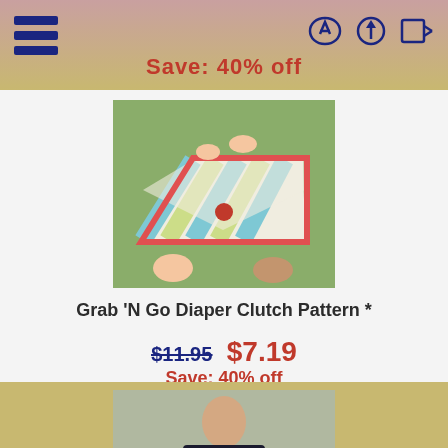Save: 40% off
[Figure (photo): Child holding a colorful chevron-patterned diaper clutch bag with red trim and flower button, sitting on grass]
Grab 'N Go Diaper Clutch Pattern *
$11.95  $7.19
Save: 40% off
[Figure (photo): Woman wearing a black dress holding a large black and white patterned tote bag with a red flower embellishment]